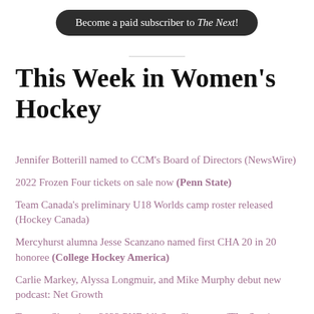Become a paid subscriber to The Next!
This Week in Women's Hockey
Jennifer Botterill named to CCM's Board of Directors (NewsWire)
2022 Frozen Four tickets on sale now (Penn State)
Team Canada's preliminary U18 Worlds camp roster released (Hockey Canada)
Mercyhurst alumna Jesse Scanzano named first CHA 20 in 20 honoree (College Hockey America)
Carlie Markey, Alyssa Longmuir, and Mike Murphy debut new podcast: Net Growth
Toronto Six to host 2022 PHF All-Star Showcase (The Star)